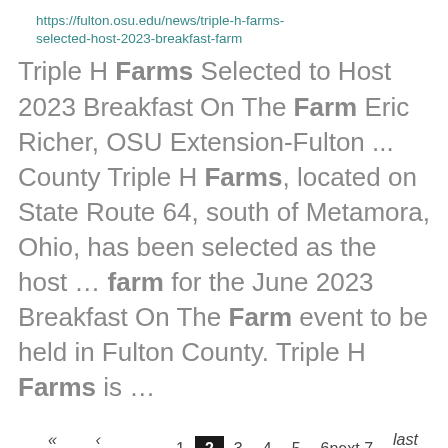https://fulton.osu.edu/news/triple-h-farms-selected-host-2023-breakfast-farm
Triple H Farms Selected to Host 2023 Breakfast On The Farm Eric Richer, OSU Extension-Fulton ... County Triple H Farms, located on State Route 64, south of Metamora, Ohio, has been selected as the host ... farm for the June 2023 Breakfast On The Farm event to be held in Fulton County. Triple H Farms is ...
« first ‹ previous 1 2 3 4 5 6next7 last» 9 ...